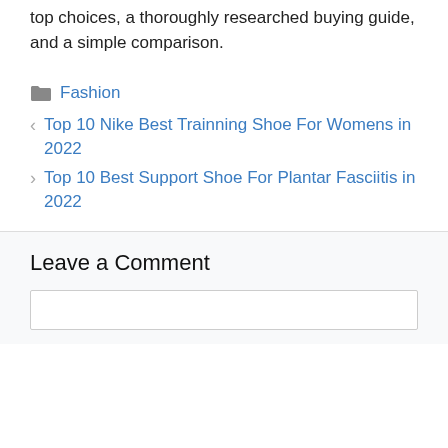top choices, a thoroughly researched buying guide, and a simple comparison.
Fashion
Top 10 Nike Best Trainning Shoe For Womens in 2022
Top 10 Best Support Shoe For Plantar Fasciitis in 2022
Leave a Comment